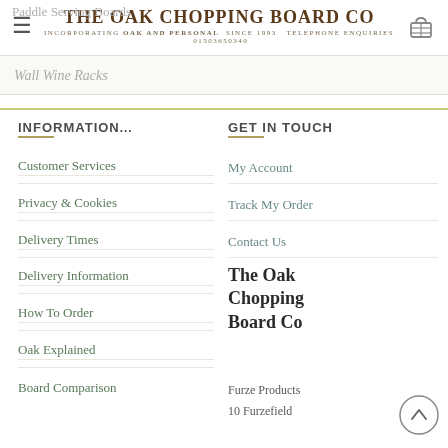The Oak Chopping Board Co — INCORPORATING OAK AND PERSONAL SINCE 1993 — TELEPHONE ENQUIRIES 01503650340
Paddle Serving Boards
Wall Wine Racks
INFORMATION...
Customer Services
Privacy & Cookies
Delivery Times
Delivery Information
How To Order
Oak Explained
Board Comparison
GET IN TOUCH
My Account
Track My Order
Contact Us
The Oak Chopping Board Co
Furze Products
10 Furzefield